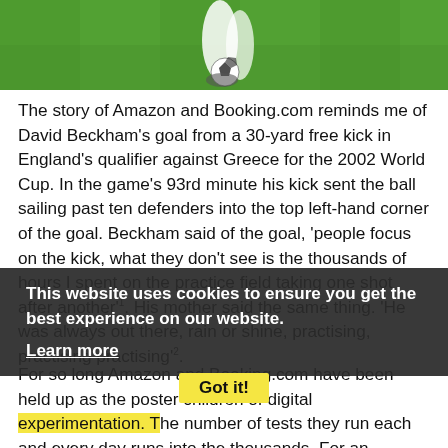[Figure (photo): Soccer player on green grass field with a black and white ball near their feet, partial view showing legs and ball against green turf background.]
The story of Amazon and Booking.com reminds me of David Beckham's goal from a 30-yard free kick in England's qualifier against Greece for the 2002 World Cup. In the game's 93rd minute his kick sent the ball sailing past ten defenders into the top left-hand corner of the goal. Beckham said of the goal, 'people focus on the kick, what they don't see is the thousands of hours I spent on the practice field taking one shot after another'¹. His mother said the same thing. 'He was always out there, rain or shine, practising, practising practising'².
This website uses cookies to ensure you get the best experience on our website.
Learn more
Got it!
For so long Amazon and Booking.com have been held up as the poster children of digital experimentation. The number of tests they run each and every day runs into the thousands. For an